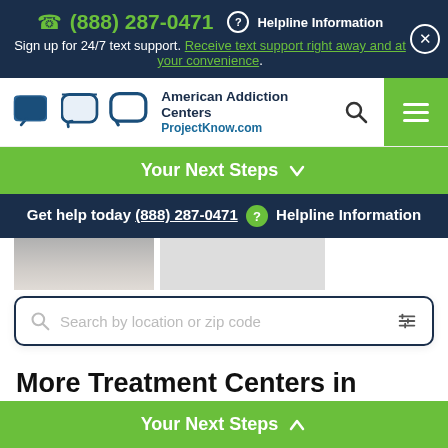(888) 287-0471  Helpline Information
Sign up for 24/7 text support. Receive text support right away and at your convenience.
[Figure (logo): American Addiction Centers / ProjectKnow.com logo with speech bubble icon]
Your Next Steps
Get help today (888) 287-0471  Helpline Information
[Figure (screenshot): Search box with placeholder: Search by location or zip code]
More Treatment Centers in
Your Next Steps